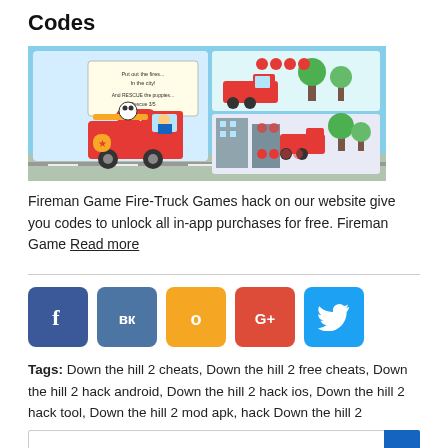Codes
[Figure (screenshot): Screenshot of Fireman Game Fire-Truck game showing animated fire trucks and city background]
Fireman Game Fire-Truck Games hack on our website give you codes to unlock all in-app purchases for free. Fireman Game Read more
[Figure (infographic): Social media share buttons: Facebook (f), VKontakte (VK), Odnoklassniki (OK), Google+ (G+), Twitter (bird icon)]
Tags: Down the hill 2 cheats, Down the hill 2 free cheats, Down the hill 2 hack android, Down the hill 2 hack ios, Down the hill 2 hack tool, Down the hill 2 mod apk, hack Down the hill 2